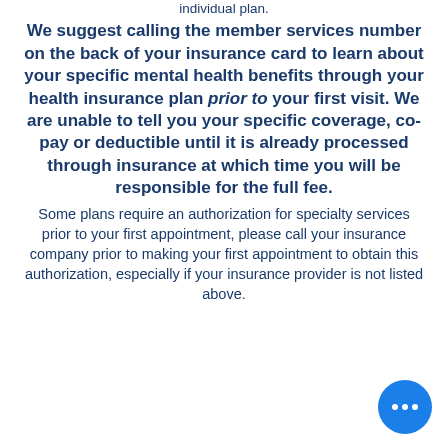individual plan. We suggest calling the member services number on the back of your insurance card to learn about your specific mental health benefits through your health insurance plan prior to your first visit. We are unable to tell you your specific coverage, co-pay or deductible until it is already processed through insurance at which time you will be responsible for the full fee. Some plans require an authorization for specialty services prior to your first appointment, please call your insurance company prior to making your first appointment to obtain this authorization, especially if your insurance provider is not listed above.